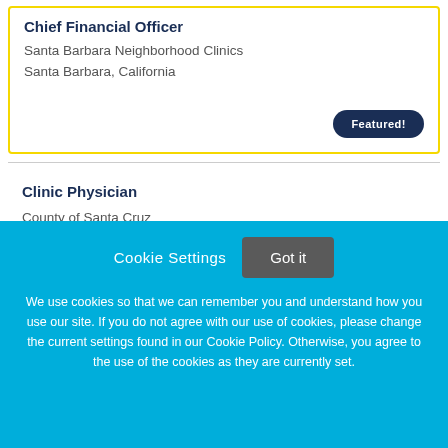Chief Financial Officer
Santa Barbara Neighborhood Clinics
Santa Barbara, California
Featured!
Clinic Physician
County of Santa Cruz
Santa Cruz, California
Cookie Settings  Got it
We use cookies so that we can remember you and understand how you use our site. If you do not agree with our use of cookies, please change the current settings found in our Cookie Policy. Otherwise, you agree to the use of the cookies as they are currently set.